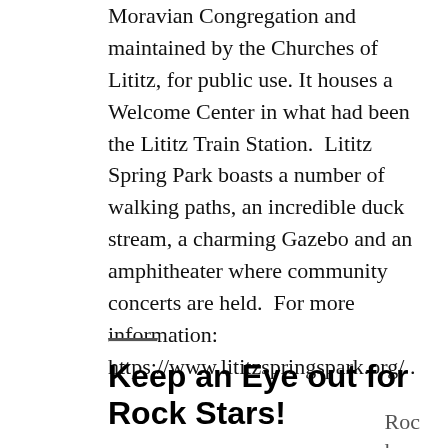Moravian Congregation and maintained by the Churches of Lititz, for public use. It houses a Welcome Center in what had been the Lititz Train Station.  Lititz Spring Park boasts a number of walking paths, an incredible duck stream, a charming Gazebo and an amphitheater where community concerts are held.  For more information:  https://www.lititzspringspark.org/ .
Keep an Eye out for Rock Stars!
Roc k